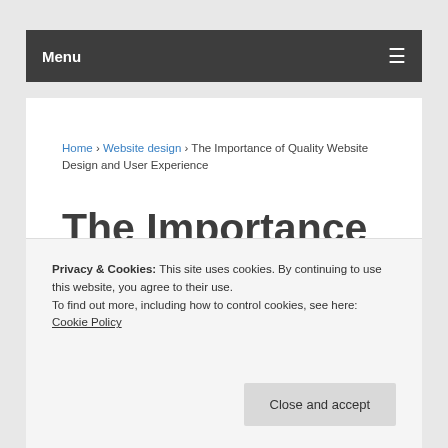Menu
Home › Website design › The Importance of Quality Website Design and User Experience
The Importance of Quality Website Design and User
Privacy & Cookies: This site uses cookies. By continuing to use this website, you agree to their use.
To find out more, including how to control cookies, see here: Cookie Policy
Close and accept